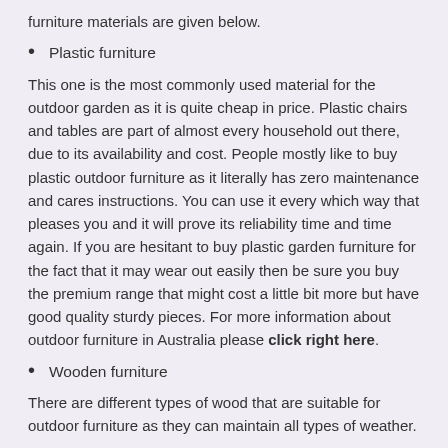furniture materials are given below.
Plastic furniture
This one is the most commonly used material for the outdoor garden as it is quite cheap in price. Plastic chairs and tables are part of almost every household out there, due to its availability and cost. People mostly like to buy plastic outdoor furniture as it literally has zero maintenance and cares instructions. You can use it every which way that pleases you and it will prove its reliability time and time again. If you are hesitant to buy plastic garden furniture for the fact that it may wear out easily then be sure you buy the premium range that might cost a little bit more but have good quality sturdy pieces. For more information about outdoor furniture in Australia please click right here.
Wooden furniture
There are different types of wood that are suitable for outdoor furniture as they can maintain all types of weather.